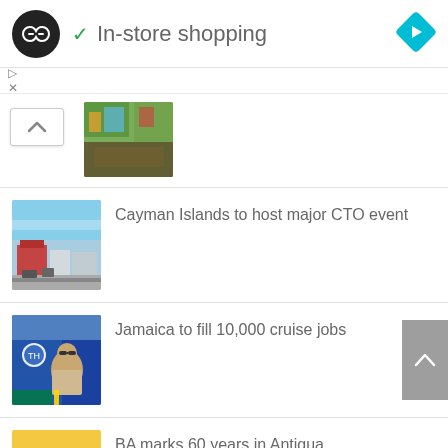In-store shopping
[Figure (screenshot): App advertisement bar with play and close icons]
[Figure (photo): Thumbnail image of stained glass and building exterior]
Cayman Islands to host major CTO event
[Figure (photo): Thumbnail image of Cayman Islands street scene with red-roofed building]
Jamaica to fill 10,000 cruise jobs
[Figure (photo): Thumbnail image of a man speaking at an event with banners in background]
BA marks 60 years in Antigua
[Figure (photo): Thumbnail image of women in colorful Caribbean festival costumes]